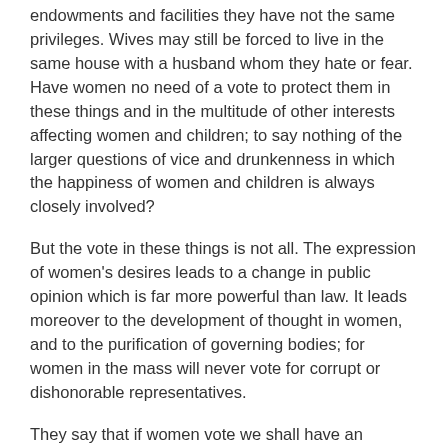endowments and facilities they have not the same privileges. Wives may still be forced to live in the same house with a husband whom they hate or fear. Have women no need of a vote to protect them in these things and in the multitude of other interests affecting women and children; to say nothing of the larger questions of vice and drunkenness in which the happiness of women and children is always closely involved?
But the vote in these things is not all. The expression of women's desires leads to a change in public opinion which is far more powerful than law. It leads moreover to the development of thought in women, and to the purification of governing bodies; for women in the mass will never vote for corrupt or dishonorable representatives.
They say that if women vote we shall have an effeminate nation, but those nations are strongest where the women are most free. How can it be otherwise while the principle of heritage remains a universal truth? Children